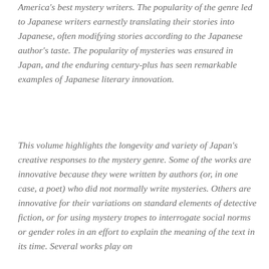America's best mystery writers. The popularity of the genre led to Japanese writers earnestly translating their stories into Japanese, often modifying stories according to the Japanese author's taste. The popularity of mysteries was ensured in Japan, and the enduring century-plus has seen remarkable examples of Japanese literary innovation.
This volume highlights the longevity and variety of Japan's creative responses to the mystery genre. Some of the works are innovative because they were written by authors (or, in one case, a poet) who did not normally write mysteries. Others are innovative for their variations on standard elements of detective fiction, or for using mystery tropes to interrogate social norms or gender roles in an effort to explain the meaning of the text in its time. Several works play on